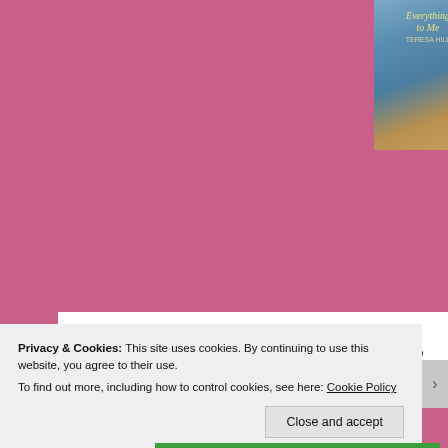[Figure (illustration): Book cover for 'Everything to Me' by Teresa Hill, overlapping with a 'Release Day Launch February 6' banner on a cream background, on a pink website background.]
We're celebrating the release of Everything to Me: Book Five by Teresa Hill! Be sure to check out the links, and giveaway!
[Figure (photo): Close-up black and white photo of a couple, a man and woman in an intimate pose, the woman leaning against the man.]
Privacy & Cookies: This site uses cookies. By continuing to use this website, you agree to their use.
To find out more, including how to control cookies, see here: Cookie Policy
Close and accept